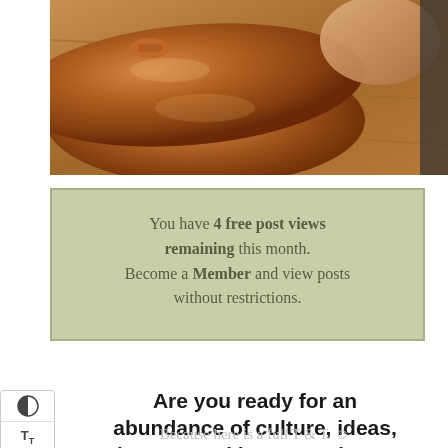[Figure (photo): Photo of copper cookware (lid and bowl/pot) on a wooden surface, with a hand visible in the upper right corner]
You have 4 free post views remaining this month. Become a Member and view posts without restrictions.
Are you ready for an abundance of culture, ideas, beauty, and just great items to explore on a Friday?
Because here is a full T & T. ☺